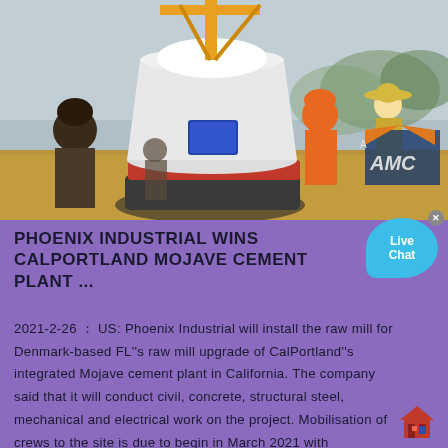[Figure (photo): Construction workers operating a large industrial cone crusher/mill machine on a job site. AMC logo visible in background. Workers wearing hard hats and safety gear.]
PHOENIX INDUSTRIAL WINS CALPORTLAND MOJAVE CEMENT PLANT ...
2021-2-26 ： US: Phoenix Industrial will install the raw mill for Denmark-based FL''s raw mill upgrade of CalPortland''s integrated Mojave cement plant in California. The company said that it will conduct civil, concrete, structural steel, mechanical and electrical work on the project. Mobilisation of crews to the site is due to begin in March 2021 with commissioning scheduled